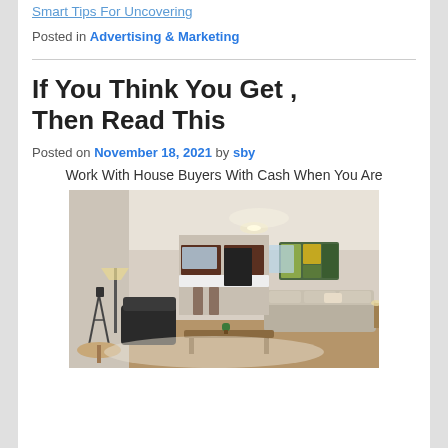Smart Tips For Uncovering
Posted in Advertising & Marketing
If You Think You Get , Then Read This
Posted on November 18, 2021 by sby
Work With House Buyers With Cash When You Are
[Figure (photo): Interior living room photo showing a modern open-plan space with sofa, coffee table, armchair, kitchen in background, and colorful artwork on wall.]